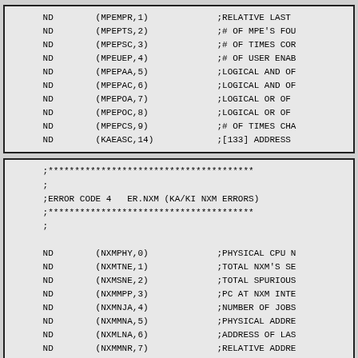ND (MPEMPR,1) ;RELATIVE LAST
ND (MPEPTS,2) ;# OF MPE'S FOU
ND (MPEPSC,3) ;# OF TIMES COR
ND (MPEUEP,4) ;# OF USER ENAB
ND (MPEPAA,5) ;LOGICAL AND OF
ND (MPEPAC,6) ;LOGICAL AND OF
ND (MPEPOA,7) ;LOGICAL OR OF
ND (MPEPOC,8) ;LOGICAL OR OF
ND (MPEPCS,9) ;# OF TIMES CHA
ND (KAEASC,14) ;[133] ADDRESS
;***************************************
;
;ERROR CODE 4   ER.NXM (KA/KI NXM ERRORS)
;***************************************
;

ND (NXMPHY,0) ;PHYSICAL CPU N
ND (NXMTNE,1) ;TOTAL NXM'S SE
ND (NXMSNE,2) ;TOTAL SPURIOUS
ND (NXMMPP,3) ;PC AT NXM INTE
ND (NXMNJA,4) ;NUMBER OF JOBS
ND (NXMMNA,5) ;PHYSICAL ADDRE
ND (NXMLNA,6) ;ADDRESS OF LAS
ND (NXMMNR,7) ;RELATIVE ADDRE
ND (NXMNTS,8) ;# OF NXM'S SEE
ND (NXMNSC,9) ;NUMBER OF SWEE
ND (NXMUEN,10) ;# OF USER ENAB
ND (NXMNAA,11) ;LOGICAL AND OF
ND (NXMNOA,12) ;LOGICAL OR OF
ND (NXMNCS,13) ;# OF TIMES CHA